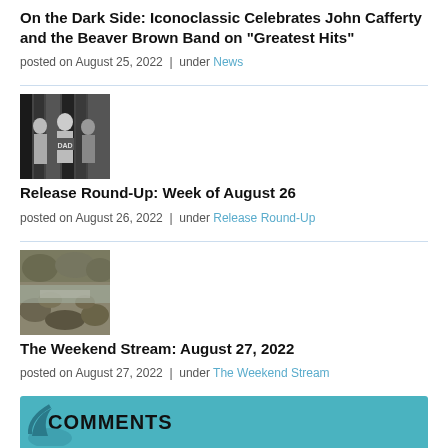On the Dark Side: Iconoclassic Celebrates John Cafferty and the Beaver Brown Band on "Greatest Hits"
posted on August 25, 2022 | under News
[Figure (photo): Black and white photo of a band, likely from the 1960s or 1970s, standing in a group]
Release Round-Up: Week of August 26
posted on August 26, 2022 | under Release Round-Up
[Figure (photo): Sepia/black and white photo of a rocky stream or waterfall]
The Weekend Stream: August 27, 2022
posted on August 27, 2022 | under The Weekend Stream
COMMENTS